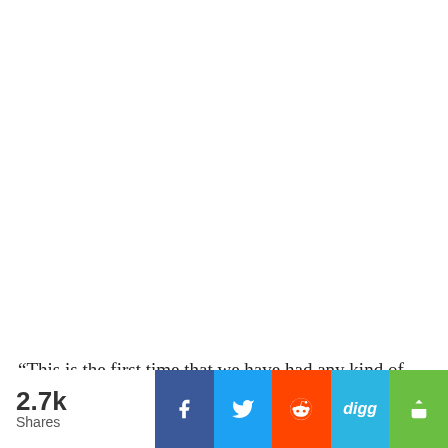“This is the first time that we have had any kind of
2.7k Shares | Facebook | Twitter | Reddit | Digg | Share